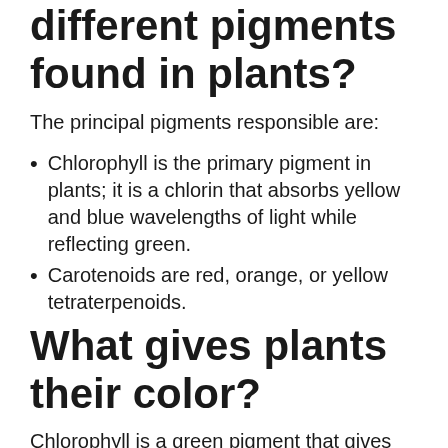different pigments found in plants?
The principal pigments responsible are:
Chlorophyll is the primary pigment in plants; it is a chlorin that absorbs yellow and blue wavelengths of light while reflecting green.
Carotenoids are red, orange, or yellow tetraterpenoids.
What gives plants their color?
Chlorophyll is a green pigment that gives most plants their color.The reason that it is green is because it absorbs other colors of